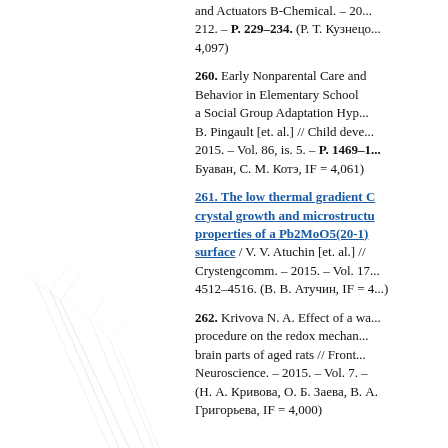and Actuators B-Chemical. – 20... 212. – P. 229–234. (Р. Т. Кузнецо... 4,097)
260. Early Nonparental Care and Behavior in Elementary School a Social Group Adaptation Hyp... B. Pingault [et. al.] // Child deve... 2015. – Vol. 86, is. 5. – P. 1469–1... Буаван, С. М. Котэ, IF = 4,061)
261. The low thermal gradient C crystal growth and microstructu properties of a Pb2MoO5(20-1) surface / V. V. Atuchin [et. al.] // Crystengcomm. – 2015. – Vol. 17... 4512–4516. (В. В. Атучин, IF = 4...)
262. Krivova N. A. Effect of a wa procedure on the redox mechan brain parts of aged rats // Front Neuroscience. – 2015. – Vol. 7. – (Н. А. Кривова, О. Б. Заева, В. А. Григорьева, IF = 4,000)